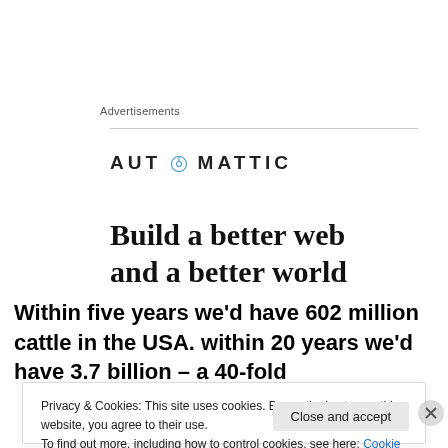Advertisements
[Figure (logo): Automattic logo with compass icon in the letter O]
Build a better web and a better world
Within five years we'd have 602 million cattle in the USA. within 20 years we'd have 3.7 billion – a 40-fold
Privacy & Cookies: This site uses cookies. By continuing to use this website, you agree to their use.
To find out more, including how to control cookies, see here: Cookie Policy
Close and accept